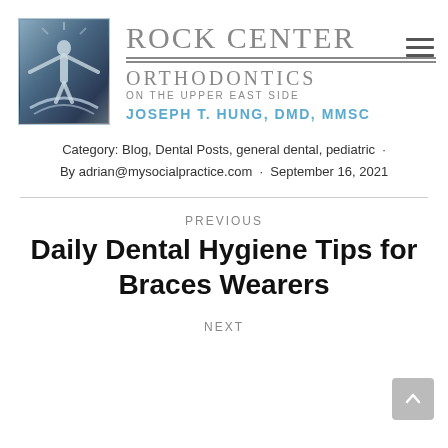[Figure (logo): Rock Center Orthodontics logo with art deco figure and text]
Category: Blog, Dental Posts, general dental, pediatric · By adrian@mysocialpractice.com · September 16, 2021
PREVIOUS
Daily Dental Hygiene Tips for Braces Wearers
NEXT